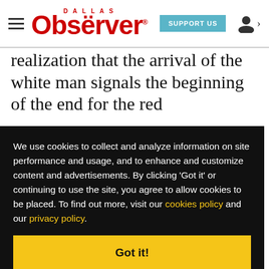Dallas Observer — SUPPORT US
realization that the arrival of the white man signals the beginning of the end for the red
We use cookies to collect and analyze information on site performance and usage, and to enhance and customize content and advertisements. By clicking 'Got it' or continuing to use the site, you agree to allow cookies to be placed. To find out more, visit our cookies policy and our privacy policy.